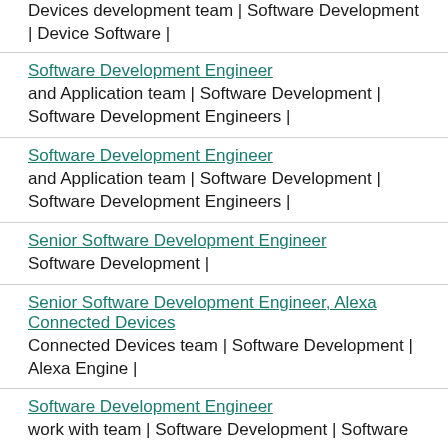Devices development team | Software Development | Device Software |
Software Development Engineer
and Application team | Software Development | Software Development Engineers |
Software Development Engineer
and Application team | Software Development | Software Development Engineers |
Senior Software Development Engineer
Software Development |
Senior Software Development Engineer, Alexa Connected Devices
Connected Devices team | Software Development | Alexa Engine |
Software Development Engineer
work with team | Software Development | Software